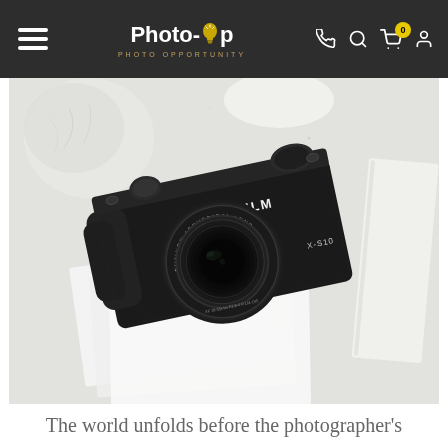Photo-Op PHOTO OPPORTUNITY
[Figure (photo): Overhead flat-lay photo of a black Fujifilm X-S10 mirrorless camera with Fujinon aspherical lens, placed on a light grey marble/concrete surface, with white papers and a white round stone object in background]
The world unfolds before the photographer's